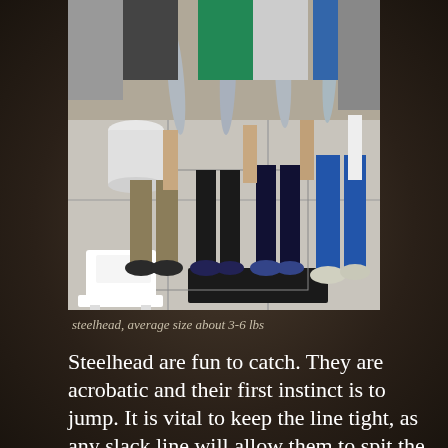[Figure (photo): Three people standing on the deck of a boat holding large fish (steelhead). A white step stool is visible on the left. The people are wearing casual clothing and sneakers.]
steelhead, average size about 3-6 lbs
Steelhead are fun to catch. They are acrobatic and their first instinct is to jump. It is vital to keep the line tight, as any slack line will allow them to spit the hook. Most typical steelhead lures are small and